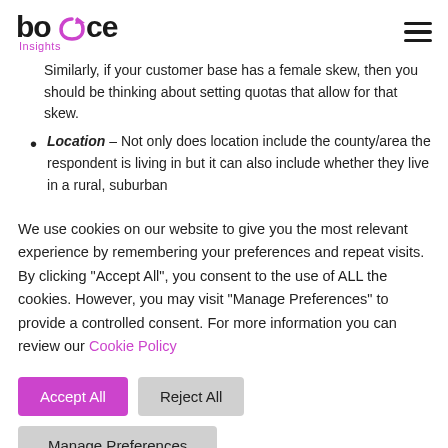bounce Insights [logo with hamburger menu]
Similarly, if your customer base has a female skew, then you should be thinking about setting quotas that allow for that skew.
Location – Not only does location include the county/area the respondent is living in but it can also include whether they live in a rural, suburban
We use cookies on our website to give you the most relevant experience by remembering your preferences and repeat visits. By clicking “Accept All”, you consent to the use of ALL the cookies. However, you may visit “Manage Preferences” to provide a controlled consent. For more information you can review our Cookie Policy